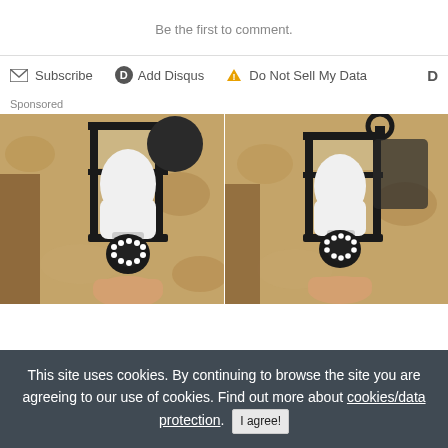Be the first to comment.
Subscribe  Add Disqus  Do Not Sell My Data  D
Sponsored
[Figure (photo): Two side-by-side photos of a security camera disguised as a light bulb installed in an outdoor lantern fixture mounted on a stucco/adobe wall. A hand is holding/installing the camera-bulb device.]
This site uses cookies. By continuing to browse the site you are agreeing to our use of cookies. Find out more about cookies/data protection.  I agree!